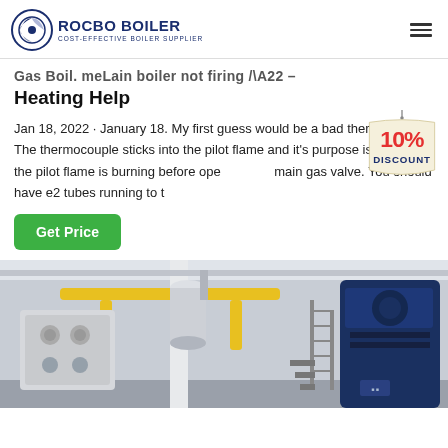ROCBO BOILER - COST-EFFECTIVE BOILER SUPPLIER
Gas Boiler Not Firing After Long – Heating Help
Jan 18, 2022 · January 18. My first guess would be a bad thermocouple. The thermocouple sticks into the pilot flame and it's purpose is to prove the pilot flame is burning before opening the main gas valve. You should have e2 tubes running to t
[Figure (illustration): 10% DISCOUNT badge/sticker overlay on the page]
[Figure (photo): Industrial boiler room with yellow gas pipes, blue boiler units, metal staircases and industrial equipment in a large facility.]